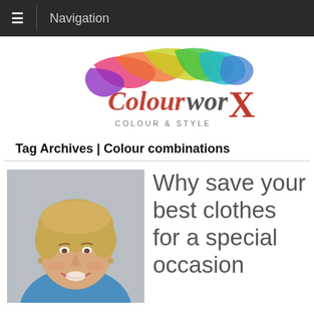Navigation
[Figure (logo): ColourworX Colour & Style logo with multicoloured flowing ribbon design]
Tag Archives | Colour combinations
[Figure (photo): Portrait photo of a smiling middle-aged woman with short blonde hair wearing a blue sleeveless top]
Why save your best clothes for a special occasion